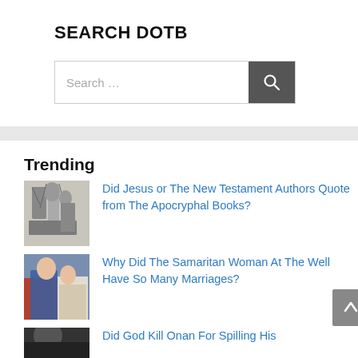SEARCH DOTB
[Figure (screenshot): Search bar with text placeholder 'Search ...' and dark gray search button with magnifying glass icon]
Trending
[Figure (illustration): Black and white engraving of angelic or religious figures]
Did Jesus or The New Testament Authors Quote from The Apocryphal Books?
[Figure (photo): Painting of two women in classical religious style, one in red and blue, one in white]
Why Did The Samaritan Woman At The Well Have So Many Marriages?
[Figure (photo): Dark painting partially visible at bottom of page]
Did God Kill Onan For Spilling His